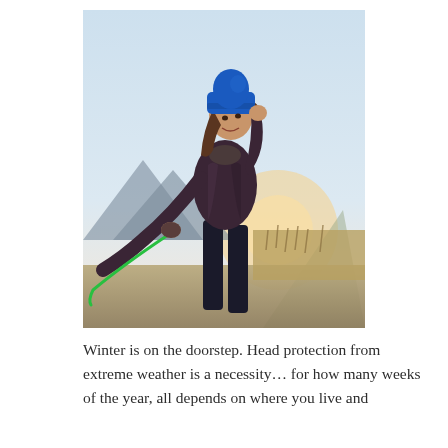[Figure (photo): A woman wearing a blue beanie hat and dark puffer jacket standing outdoors on a hillside trail, holding a green leash, smiling, with mountains and golden hour light in the background.]
Winter is on the doorstep. Head protection from extreme weather is a necessity… for how many weeks of the year, all depends on where you live and